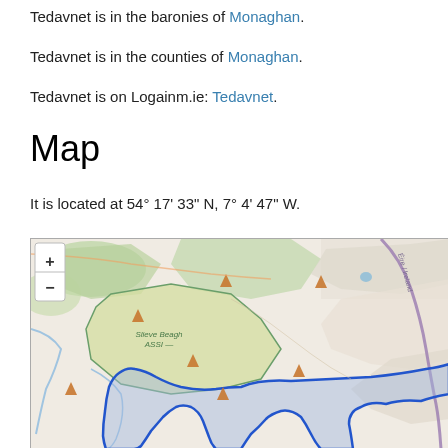Tedavnet is in the baronies of Monaghan.
Tedavnet is in the counties of Monaghan.
Tedavnet is on Logainm.ie: Tedavnet.
Map
It is located at 54° 17' 33" N, 7° 4' 47" W.
[Figure (map): Interactive map showing Tedavnet area in County Monaghan, Ireland, with Slieve Beagh ASSI marked, blue boundary outline of Tedavnet civil parish, terrain in greens and tans, Éire/Ireland border label visible, zoom controls (+/-) in top left.]